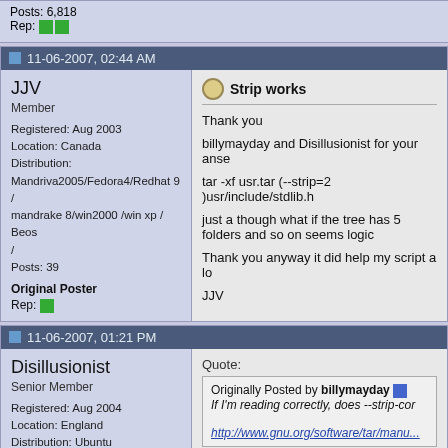Posts: 6,818
Rep: [green squares]
11-06-2007, 02:44 AM
JJV
Member
Registered: Aug 2003
Location: Canada
Distribution: Mandriva2005/Fedora4/Redhat 9 / mandrake 8/win2000 /win xp / Beos /
Posts: 39
Original Poster
Rep: [green square]
Strip works

Thank you

billymayday and Disillusionist for your anse

tar -xf usr.tar (--strip=2 )usr/include/stdlib.h

just a though what if the tree has 5 folders and so on seems logic

Thank you anyway it did help my script a lo

JJV
11-06-2007, 01:21 PM
Disillusionist
Senior Member
Registered: Aug 2004
Location: England
Distribution: Ubuntu
Posts: 1,039
Quote:
Originally Posted by billymayday
If I'm reading correctly, does --strip-cor
http://www.gnu.org/software/tar/manu...